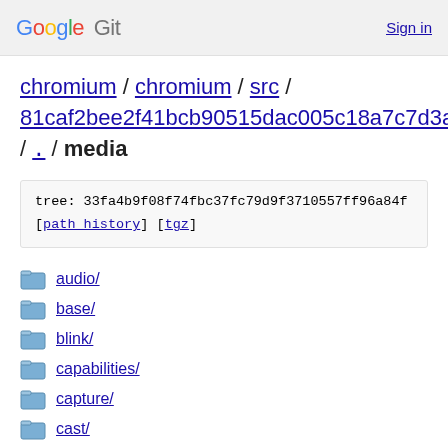Google Git   Sign in
chromium / chromium / src / 81caf2bee2f41bcb90515dac005c18a7c7d3aaeb / . / media
tree: 33fa4b9f08f74fbc37fc79d9f3710557ff96a84f [path history] [tgz]
audio/
base/
blink/
capabilities/
capture/
cast/
cdm/
device_monitors/
ffmpeg/